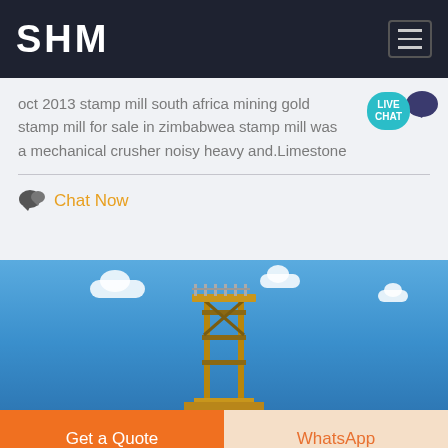SHM
oct 2013 stamp mill south africa mining gold stamp mill for sale in zimbabwea stamp mill was a mechanical crusher noisy heavy and.Limestone
Chat Now
[Figure (photo): Mining equipment structure against blue sky with white clouds]
Get a Quote
WhatsApp